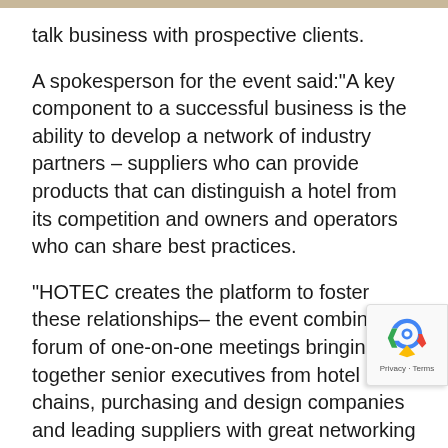talk business with prospective clients.
A spokesperson for the event said:"A key component to a successful business is the ability to develop a network of industry partners – suppliers who can provide products that can distinguish a hotel from its competition and owners and operators who can share best practices.
“HOTEC creates the platform to foster these relationships– the event combines a forum of one-on-one meetings bringing together senior executives from hotel chains, purchasing and design companies and leading suppliers with great networking activities for the perfect combination to promote business relationships.”
To find out more about the event that promises to be a must for those within the Middle Eastern hospitality click here.